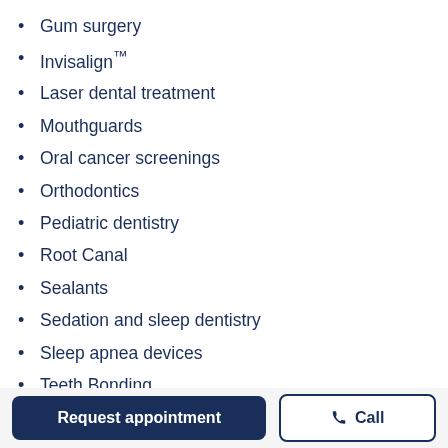Gum surgery
Invisalign™
Laser dental treatment
Mouthguards
Oral cancer screenings
Orthodontics
Pediatric dentistry
Root Canal
Sealants
Sedation and sleep dentistry
Sleep apnea devices
Teeth Bonding
Teeth whitening
Temporo-Mandibular joint (TMJ) pain treatment
Tooth extraction
Request appointment | Call